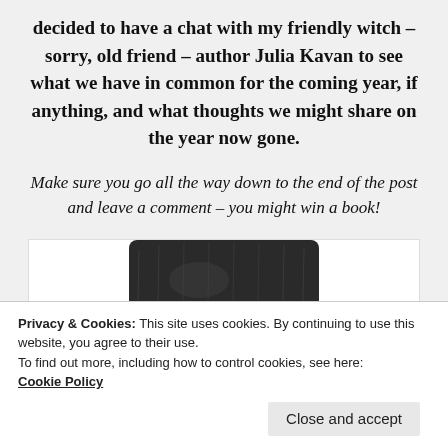decided to have a chat with my friendly witch – sorry, old friend – author Julia Kavan to see what we have in common for the coming year, if anything, and what thoughts we might share on the year now gone.
Make sure you go all the way down to the end of the post and leave a comment – you might win a book!
[Figure (photo): Black and white photo showing the top portion of a witch hat, dark and textured, partially cropped at the bottom of the image frame.]
Privacy & Cookies: This site uses cookies. By continuing to use this website, you agree to their use.
To find out more, including how to control cookies, see here: Cookie Policy
Close and accept